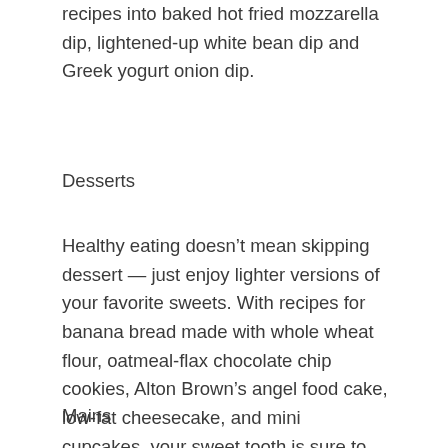recipes into baked hot fried mozzarella dip, lightened-up white bean dip and Greek yogurt onion dip.
Desserts
Healthy eating doesn't mean skipping dessert — just enjoy lighter versions of your favorite sweets. With recipes for banana bread made with whole wheat flour, oatmeal-flax chocolate chip cookies, Alton Brown's angel food cake, low-fat cheesecake, and mini cupcakes, your sweet tooth is sure to be satisfied.
Mains